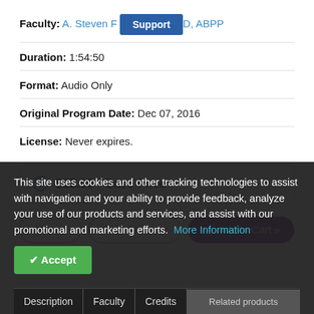Faculty: A. Steven F..., D, ABPP
Duration: 1:54:50
Format: Audio Only
Original Program Date: Dec 07, 2016
License: Never expires.
$15.00 - Base Price
Share | Save for Later | Add to Cart »
This site uses cookies and other tracking technologies to assist with navigation and your ability to provide feedback, analyze your use of our products and services, and assist with our promotional and marketing efforts. More Information
Accept
Description | Faculty | Credits | Related products